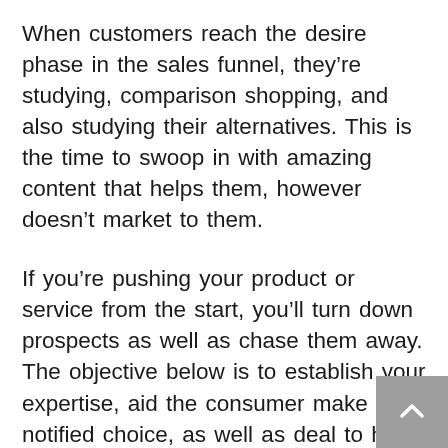When customers reach the desire phase in the sales funnel, they're studying, comparison shopping, and also studying their alternatives. This is the time to swoop in with amazing content that helps them, however doesn't market to them.
If you're pushing your product or service from the start, you'll turn down prospects as well as chase them away. The objective below is to establish your expertise, aid the consumer make a notified choice, as well as deal to help them in any way you can.